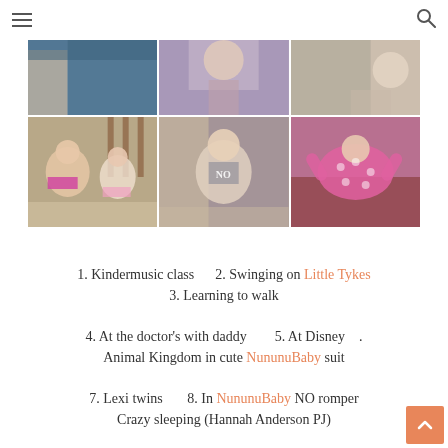≡  🔍
[Figure (photo): 3x2 grid of baby/toddler photos. Top row: three partial/cropped photos of children. Bottom row: two children sitting on floor playing with toys, baby sitting wearing 'NO' shirt, baby in pink polka dot outfit lying on couch.]
1. Kindermusic class    2. Swinging on Little Tykes
3. Learning to walk
4. At the doctor's with daddy       5. At Disney .
Animal Kingdom in cute NununuBaby suit
7. Lexi twins        8. In NununuBaby NO romper
Crazy sleeping (Hannah Anderson PJ)